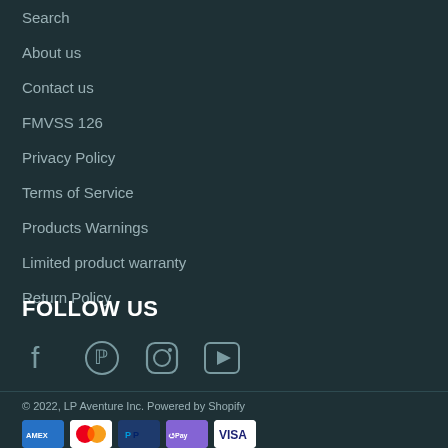Search
About us
Contact us
FMVSS 126
Privacy Policy
Terms of Service
Products Warnings
Limited product warranty
Return Policy
FOLLOW US
[Figure (other): Social media icons: Facebook, Pinterest, Instagram, YouTube]
© 2022, LP Aventure Inc. Powered by Shopify
[Figure (other): Payment method icons: American Express, Mastercard, PayPal, Shop Pay, Visa]